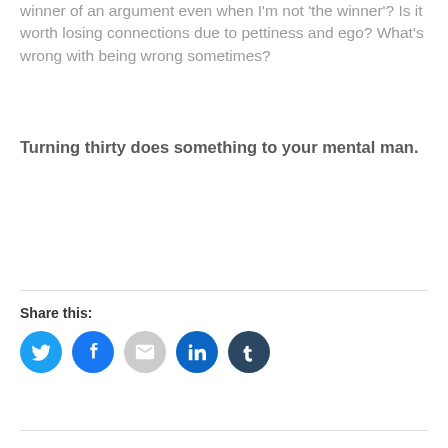winner of an argument even when I'm not 'the winner'? Is it worth losing connections due to pettiness and ego? What's wrong with being wrong sometimes?
Turning thirty does something to your mental man.
Share this:
[Figure (infographic): Social share buttons: Twitter (blue bird), Facebook (blue f), Email (grey envelope), LinkedIn (blue in), Tumblr (dark blue t)]